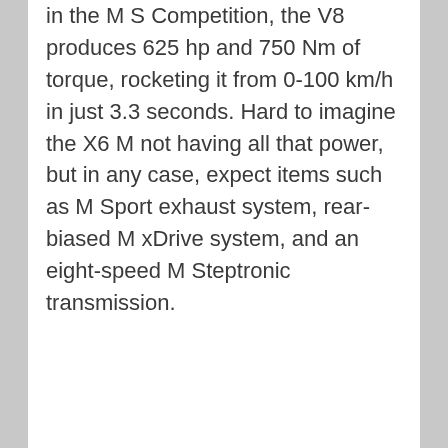in the M S Competition, the V8 produces 625 hp and 750 Nm of torque, rocketing it from 0-100 km/h in just 3.3 seconds. Hard to imagine the X6 M not having all that power, but in any case, expect items such as M Sport exhaust system, rear-biased M xDrive system, and an eight-speed M Steptronic transmission.